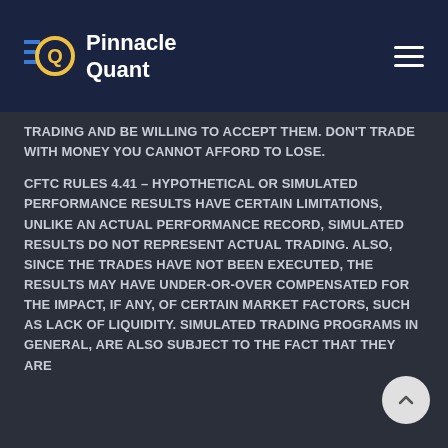Pinnacle Quant
TRADING AND BE WILLING TO ACCEPT THEM. DON'T TRADE WITH MONEY YOU CANNOT AFFORD TO LOSE.
CFTC RULES 4.41 – HYPOTHETICAL OR SIMULATED PERFORMANCE RESULTS HAVE CERTAIN LIMITATIONS, UNLIKE AN ACTUAL PERFORMANCE RECORD, SIMULATED RESULTS DO NOT REPRESENT ACTUAL TRADING. ALSO, SINCE THE TRADES HAVE NOT BEEN EXECUTED, THE RESULTS MAY HAVE UNDER-OR-OVER COMPENSATED FOR THE IMPACT, IF ANY, OF CERTAIN MARKET FACTORS, SUCH AS LACK OF LIQUIDITY. SIMULATED TRADING PROGRAMS IN GENERAL, ARE ALSO SUBJECT TO THE FACT THAT THEY ARE